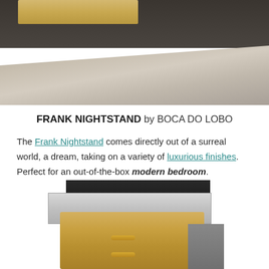[Figure (photo): Top portion of a Frank Nightstand product photo showing the furniture piece on a dark floor with a gray textured rug]
FRANK NIGHTSTAND by BOCA DO LOBO
The Frank Nightstand comes directly out of a surreal world, a dream, taking on a variety of luxurious finishes. Perfect for an out-of-the-box modern bedroom.
[Figure (photo): Bottom close-up photo of the Frank Nightstand showing burl wood base, silver middle drawer, black top drawer with wood-stick interior, and gold handles]